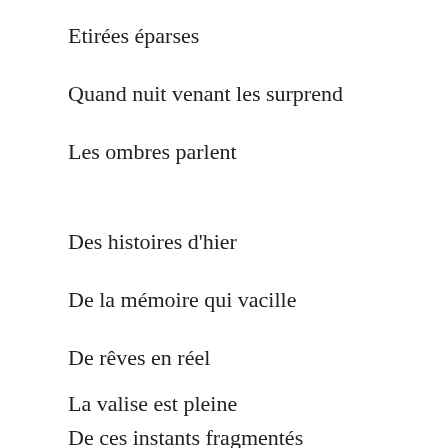Etirées éparses
Quand nuit venant les surprend
Les ombres parlent
Des histoires d'hier
De la mémoire qui vacille
De rêves en réel
La valise est pleine
De ces instants fragmentés